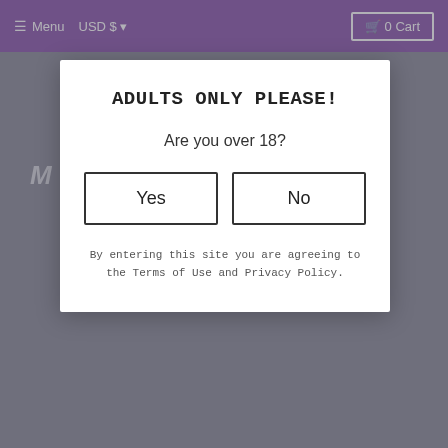≡ Menu  USD $  ▾  🛒 0 Cart
M
ADULTS ONLY PLEASE!
Are you over 18?
Yes
No
By entering this site you are agreeing to the Terms of Use and Privacy Policy.
M
First and second colour - dominant spiral colours
Third colour - accent colour interwoven between first and second colours
Ribbons: